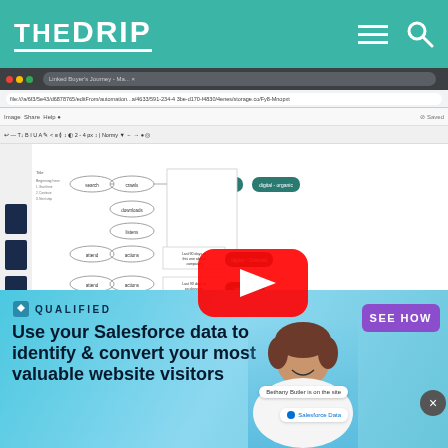THE DRIP
[Figure (screenshot): Browser screenshot showing a Lucidchart or similar diagramming tool with a complex buyer's journey flowchart. The diagram contains multiple nodes connected by lines, with teal/dark green colored terminal nodes. A YouTube play button overlay is visible in the center-right of the diagram.]
[Figure (infographic): Advertisement banner for Qualified. Text reads: QUALIFIED. Use your Salesforce data to identify & convert your most valuable website visitors. SEE HOW button visible. Person's photo on right side. Chat bubble showing 'Bethany Butler is on the site' and Salesforce Data badge visible.]